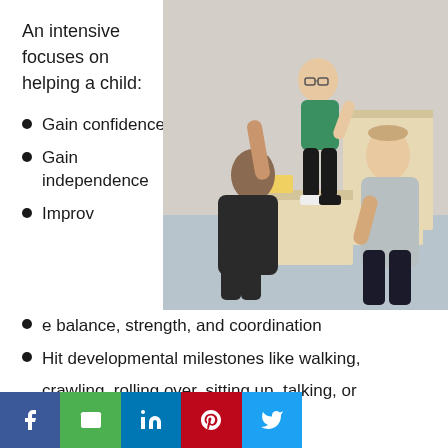An intensive focuses on helping a child:
Gain confidence
Gain independence
Improve balance, strength, and coordination
[Figure (photo): Photo of a child standing on a box with two therapists/caregivers supporting them in a therapy room with wooden boxes]
Hit developmental milestones like walking, crawling, rolling over, sitting up, talking, or chewin...